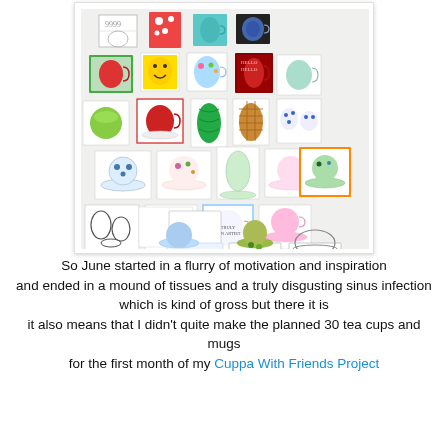[Figure (illustration): A collection of small painted/drawn artworks of tea cups and mugs arranged in a collage, displayed on a white background with a light shadow border. Various styles including watercolor, line drawing, and colored illustrations.]
So June started in a flurry of motivation and inspiration and ended in a mound of tissues and a truly disgusting sinus infection which is kind of gross but there it is it also means that I didn't quite make the planned 30 tea cups and mugs for the first month of my Cuppa With Friends Project